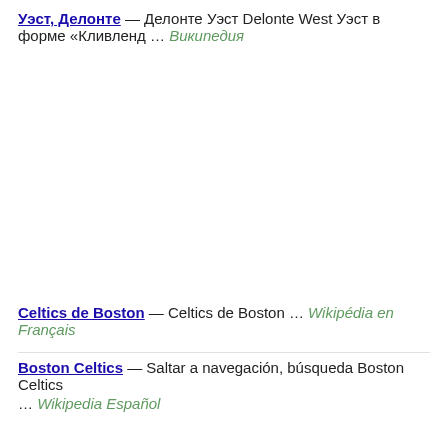Уэст, Делонте — Делонте Уэст Delonte West Уэст в форме «Кливленд … Википедия
Celtics de Boston — Celtics de Boston … Wikipédia en Français
Boston Celtics — Saltar a navegación, búsqueda Boston Celtics … Wikipedia Español